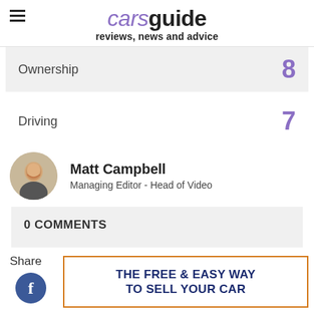carsguide reviews, news and advice
| Category | Score |
| --- | --- |
| Ownership | 8 |
| Driving | 7 |
Matt Campbell
Managing Editor - Head of Video
0 COMMENTS
Share
[Figure (other): Advertisement banner: THE FREE & EASY WAY TO SELL YOUR CAR with orange border]